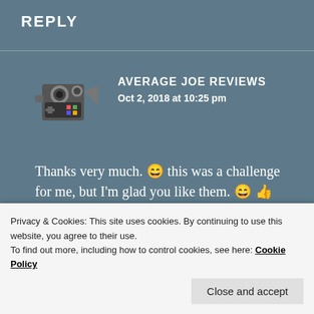REPLY
AVERAGE JOE REVIEWS
Oct 2, 2018 at 10:25 pm
Thanks very much. 😄 this was a challenge for me, but I'm glad you like them. 😄 👍
★ Liked by 1 person
Privacy & Cookies: This site uses cookies. By continuing to use this website, you agree to their use.
To find out more, including how to control cookies, see here: Cookie Policy
Close and accept
Oct 3, 2018 at 1:30 am